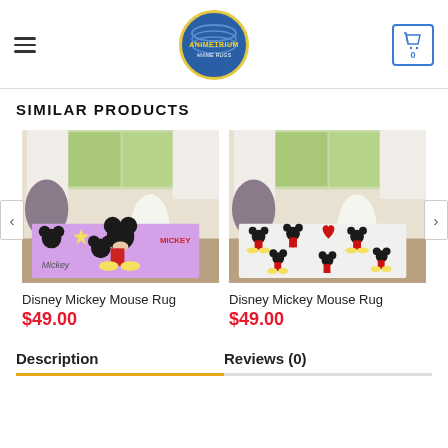ANIMETRIUM logo and navigation header
SIMILAR PRODUCTS
[Figure (photo): Disney Mickey Mouse Rug product image - colorful rug with Mickey Mouse design in purple/pink colors with black Mickey Mouse character icons]
Disney Mickey Mouse Rug
$49.00
[Figure (photo): Disney Mickey Mouse Rug product image - white rug with colorful Mickey and Minnie Mouse characters in red, yellow, and black]
Disney Mickey Mouse Rug
$49.00
Description
Reviews (0)